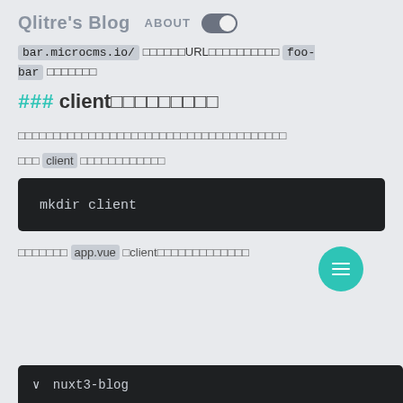Qlitre's Blog  ABOUT
bar.microcms.io/ xxxxxxURLxxxxxxxxxxxxxxx foo-bar xxxxxxx
### clientのディレクトリ
xxxxxxxxxxxxxxxxxxxxxxxxxxxxxxxxxxxxxxxx
次に client ディレクトリを作成します
mkdir client
続いて app.vue をclientディレクトリに移動させます
[Figure (screenshot): File tree panel showing nuxt3-blog folder structure at the bottom of the screen]